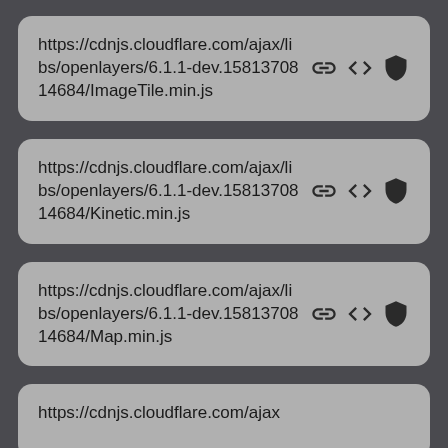https://cdnjs.cloudflare.com/ajax/libs/openlayers/6.1.1-dev.1581370814684/ImageTile.min.js
https://cdnjs.cloudflare.com/ajax/libs/openlayers/6.1.1-dev.1581370814684/Kinetic.min.js
https://cdnjs.cloudflare.com/ajax/libs/openlayers/6.1.1-dev.1581370814684/Map.min.js
https://cdnjs.cloudflare.com/ajax